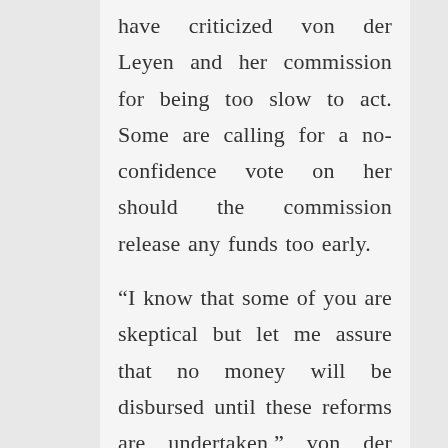have criticized von der Leyen and her commission for being too slow to act. Some are calling for a no-confidence vote on her should the commission release any funds too early.

“I know that some of you are skeptical but let me assure that no money will be disbursed until these reforms are undertaken,” von der Leyen said. “A first payment will only be possible once